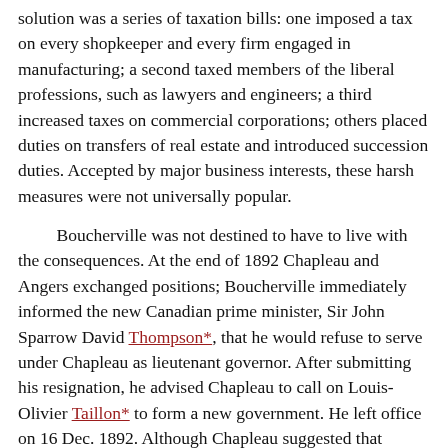solution was a series of taxation bills: one imposed a tax on every shopkeeper and every firm engaged in manufacturing; a second taxed members of the liberal professions, such as lawyers and engineers; a third increased taxes on commercial corporations; others placed duties on transfers of real estate and introduced succession duties. Accepted by major business interests, these harsh measures were not universally popular.
Boucherville was not destined to have to live with the consequences. At the end of 1892 Chapleau and Angers exchanged positions; Boucherville immediately informed the new Canadian prime minister, Sir John Sparrow David Thompson*, that he would refuse to serve under Chapleau as lieutenant governor. After submitting his resignation, he advised Chapleau to call on Louis-Olivier Taillon* to form a new government. He left office on 16 Dec. 1892. Although Chapleau suggested that Boucherville's decision had too much pride and too little duty in it, they parted on good terms. For his services, on 26 May 1894 he was made a CMG.